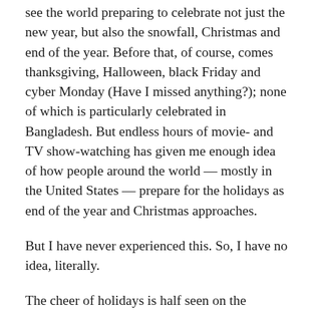see the world preparing to celebrate not just the new year, but also the snowfall, Christmas and end of the year. Before that, of course, comes thanksgiving, Halloween, black Friday and cyber Monday (Have I missed anything?); none of which is particularly celebrated in Bangladesh. But endless hours of movie- and TV show-watching has given me enough idea of how people around the world — mostly in the United States — prepare for the holidays as end of the year and Christmas approaches.
But I have never experienced this. So, I have no idea, literally.
The cheer of holidays is half seen on the internet, on people's blogs, on internet medias and so on. It's more like Eid in Bangladesh, for which people prepare for